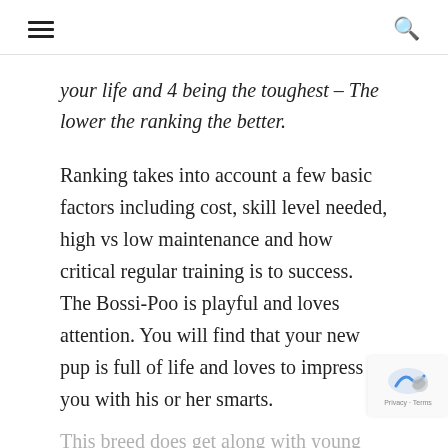≡  🔍
your life and 4 being the toughest – The lower the ranking the better.
Ranking takes into account a few basic factors including cost, skill level needed, high vs low maintenance and how critical regular training is to success. The Bossi-Poo is playful and loves attention. You will find that your new pup is full of life and loves to impress you with his or her smarts.
This breed does get along with young